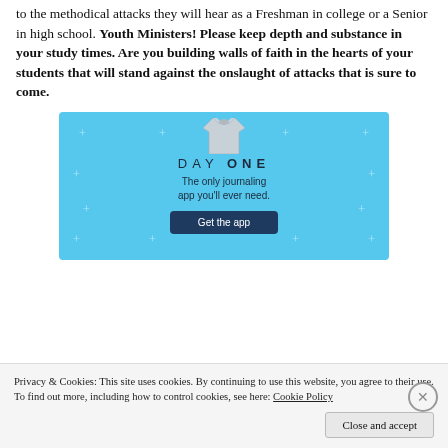to the methodical attacks they will hear as a Freshman in college or a Senior in high school. Youth Ministers! Please keep depth and substance in your study times. Are you building walls of faith in the hearts of your students that will stand against the onslaught of attacks that is sure to come.
[Figure (infographic): Day One journaling app advertisement on a light blue background with star/plus decorations, a t-shirt graphic at top, text 'DAY ONE - The only journaling app you'll ever need.' and a 'Get the app' button.]
Privacy & Cookies: This site uses cookies. By continuing to use this website, you agree to their use. To find out more, including how to control cookies, see here: Cookie Policy
Close and accept